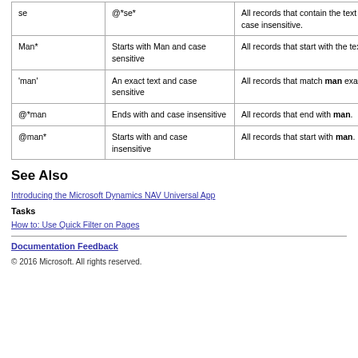|  |  |  |
| --- | --- | --- |
| se | @*se* | All records that contain the text se and case insensitive. |
| Man* | Starts with Man and case sensitive | All records that start with the text Man. |
| 'man' | An exact text and case sensitive | All records that match man exactly. |
| @*man | Ends with and case insensitive | All records that end with man. |
| @man* | Starts with and case insensitive | All records that start with man. |
See Also
Introducing the Microsoft Dynamics NAV Universal App
Tasks
How to: Use Quick Filter on Pages
Documentation Feedback
© 2016 Microsoft. All rights reserved.